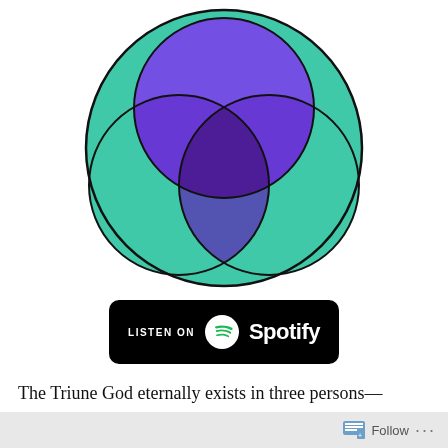[Figure (other): A Venn diagram with three overlapping circles arranged in a triangular pattern. The circles are colored in teal/green and purple/violet, with overlapping regions showing mixed colors including deep purple and blue-purple intersections. The overall shape fits within a large outer circle outline.]
[Figure (logo): Spotify 'Listen on Spotify' badge — black rounded rectangle with white text 'LISTEN ON' and the Spotify logo (white circle with musical note lines) followed by 'Spotify' in white.]
The Triune God eternally exists in three persons—Father, Son, and Holy Spirit. It's important to emphasize that Christians do not believe in tri-theism or three Gods that are of equal power. As Deuteronomy 6:4 states, "Hear, O Israel: The Lord our God, the...
Follow ...